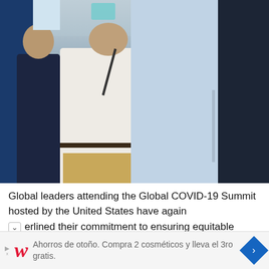[Figure (photo): People standing in line at what appears to be an indoor event or summit. A person in a white polo shirt is in the center, a person in a dark shirt on the left, and a person in a light blue shirt and dark jacket on the right. A blue backdrop/curtain is visible in the background.]
Global leaders attending the Global COVID-19 Summit hosted by the United States have again underlined their commitment to ensuring equitable
Ahorros de otoño. Compra 2 cosméticos y lleva el 3ro gratis.